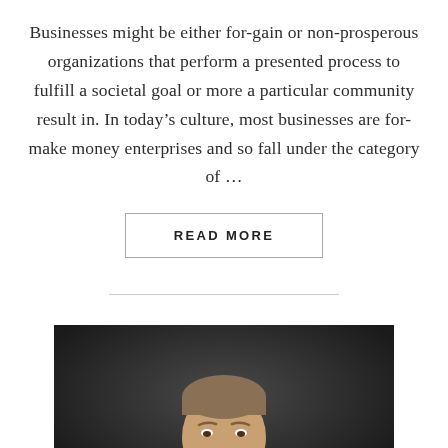Businesses might be either for-gain or non-prosperous organizations that perform a presented process to fulfill a societal goal or more a particular community result in. In today's culture, most businesses are for-make money enterprises and so fall under the category of ...
READ MORE
[Figure (photo): Professional headshot of a smiling middle-aged man in a dark suit, photographed against a dark background]